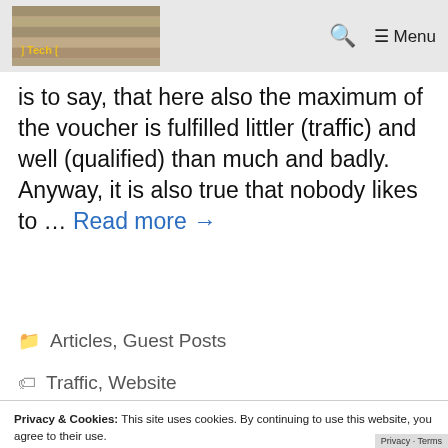Tech | Menu
is to say, that here also the maximum of the voucher is fulfilled littler (traffic) and well (qualified) than much and badly. Anyway, it is also true that nobody likes to … Read more →
Articles, Guest Posts
Traffic, Website
Privacy & Cookies: This site uses cookies. By continuing to use this website, you agree to their use. To find out more, including how to control cookies, see here: Cookie Policy
Close and accept
SEO or Content Marketing